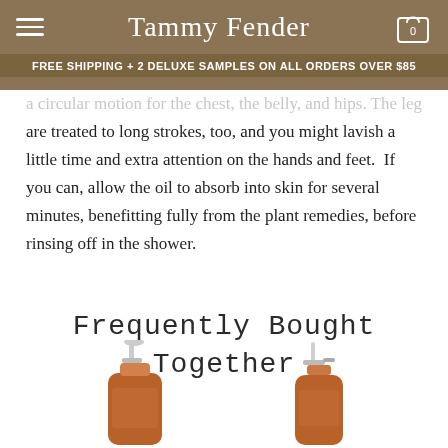Tammy Fender | FREE SHIPPING + 2 DELUXE SAMPLES ON ALL ORDERS OVER $85
are treated to long strokes, too, and you might lavish a little time and extra attention on the hands and feet. If you can, allow the oil to absorb into skin for several minutes, benefitting fully from the plant remedies, before rinsing off in the shower.
Frequently Bought Together
[Figure (photo): Two amber glass pump/spray bottles of skincare products partially visible at the bottom of the page]